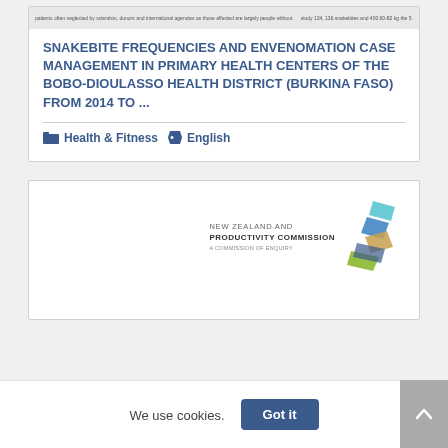[Figure (screenshot): Thumbnail image strip showing faint text from a document about snakebite cases]
SNAKEBITE FREQUENCIES AND ENVENOMATION CASE MANAGEMENT IN PRIMARY HEALTH CENTERS OF THE BOBO-DIOULASSO HEALTH DISTRICT (BURKINA FASO) FROM 2014 TO ...
Health & Fitness   English
[Figure (logo): New Zealand Productivity Commission logo with colorful angular graphic and text: NEW ZEALAND PRODUCTIVITY COMMISSION, A COMMISSION OF ENQUIRY]
We use cookies.